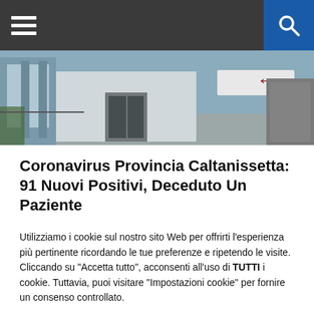Navigation bar with hamburger menu and search button
[Figure (photo): Exterior photo of a building entrance with a red arrow sign pointing left, showing glass doors and a parking area]
Coronavirus Provincia Caltanissetta: 91 Nuovi Positivi, Deceduto Un Paziente
[Figure (photo): Dark interior photo showing what appears to be a hospital or public building interior]
Utilizziamo i cookie sul nostro sito Web per offrirti l'esperienza più pertinente ricordando le tue preferenze e ripetendo le visite. Cliccando su "Accetta tutto", acconsenti all'uso di TUTTI i cookie. Tuttavia, puoi visitare "Impostazioni cookie" per fornire un consenso controllato.
Impostazioni | Accetta tutto